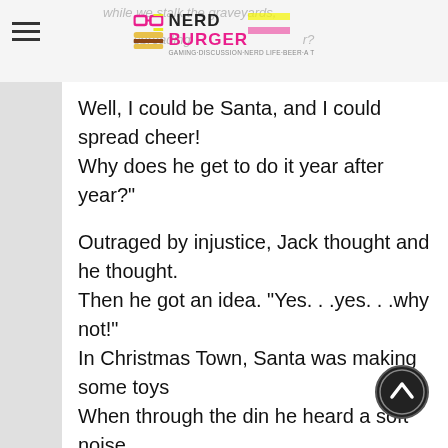while we stalk the graveyards, spreading... [Nerd Burger logo]
Well, I could be Santa, and I could spread cheer!
Why does he get to do it year after year?"

Outraged by injustice, Jack thought and he thought.
Then he got an idea. “Yes. . .yes. . .why not!"
In Christmas Town, Santa was making some toys
When through the din he heard a soft noise.
He answered the door, and to his surprise,
He saw weird little creatures in strange disguise.